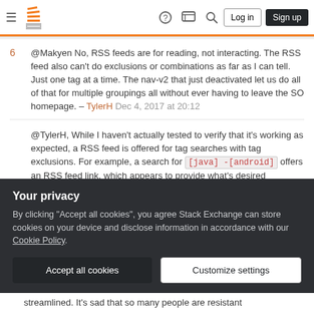Stack Overflow navigation bar with hamburger, logo, help, chat, search, Log in, Sign up
6  @Makyen No, RSS feeds are for reading, not interacting. The RSS feed also can't do exclusions or combinations as far as I can tell. Just one tag at a time. The nav-v2 that just deactivated let us do all of that for multiple groupings all without ever having to leave the SO homepage. – TylerH Dec 4, 2017 at 20:12
@TylerH, While I haven't actually tested to verify that it's working as expected, a RSS feed is offered for tag searches with tag exclusions. For example, a search for [java] -[android] offers an RSS feed link, which appears to provide what's desired (exclusions
Your privacy
By clicking "Accept all cookies", you agree Stack Exchange can store cookies on your device and disclose information in accordance with our Cookie Policy.
Accept all cookies   Customize settings
streamlined. It's sad that so many people are resistant